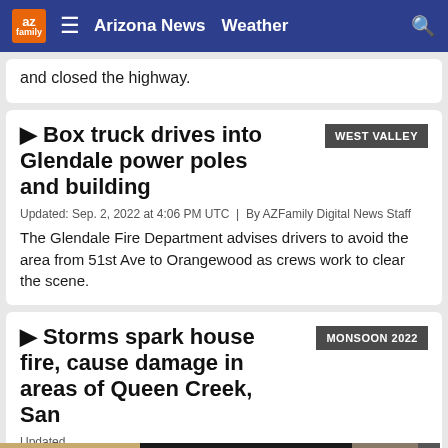az family | Arizona News | Weather
and closed the highway.
Box truck drives into Glendale power poles and building
WEST VALLEY
Updated: Sep. 2, 2022 at 4:06 PM UTC  |  By AZFamily Digital News Staff
The Glendale Fire Department advises drivers to avoid the area from 51st Ave to Orangewood as crews work to clear the scene.
Storms spark house fire, cause damage in areas of Queen Creek, San
MONSOON 2022
Updated
[Figure (other): Advertisement banner for E.D. Marshall Jewelers and Rolex selling promotion]